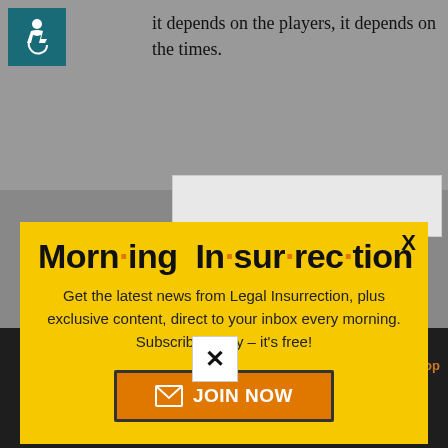[Figure (logo): Accessibility wheelchair icon on teal/dark green background]
it depends on the players, it depends on the times.
[Figure (screenshot): Popup modal with yellow background. Title: Morning Insurrection (with orange dots between syllables). Body: Get the latest news from Legal Insurrection, plus exclusive content, direct to your inbox every morning. Subscribe today – it's free! Button: JOIN NOW with envelope icon. X close button in top right.]
movement is NOT about pure or traditional conservatism. It is about America First, Make America